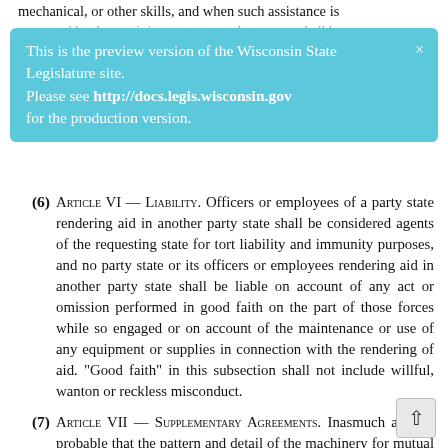mechanical, or other skills, and when such assistance is requested by the receiving party state, that person shall be
This is the preview version of the Wisconsin State Legislature site. Please see http://docs.legis.wisconsin.gov for the production version.
(6) Article VI — Liability. Officers or employees of a party state rendering aid in another party state shall be considered agents of the requesting state for tort liability and immunity purposes, and no party state or its officers or employees rendering aid in another party state shall be liable on account of any act or omission performed in good faith on the part of those forces while so engaged or on account of the maintenance or use of any equipment or supplies in connection with the rendering of aid. "Good faith" in this subsection shall not include willful, wanton or reckless misconduct.
(7) Article VII — Supplementary Agreements. Inasmuch as it is probable that the pattern and detail of the machinery for mutual aid among two or more states may differ from that among the party states, this compact contains elements of a broad base common to all states, and nothing contained in this compact shall preclude any state from entering into supplementary agreements with another state or affect any other agreements already in force among states. Supplementary agreements may include provisions for